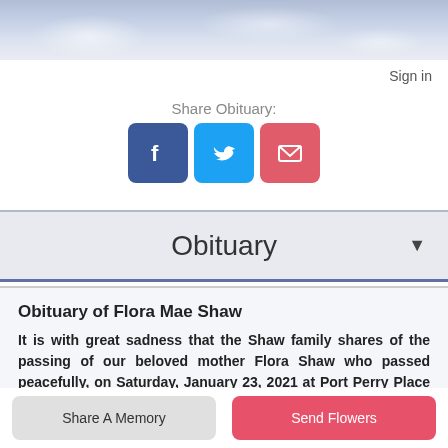[Figure (photo): Sky with clouds, blue-grey tones, used as a decorative header banner]
Sign in
Share Obituary:
[Figure (infographic): Three social sharing icons: Facebook (blue), Twitter (light blue), Email (red/pink)]
Obituary
Obituary of Flora Mae Shaw
It is with great sadness that the Shaw family shares of the passing of our beloved mother Flora Shaw who passed peacefully, on Saturday, January 23, 2021 at Port Perry Place in Port Perry, at age 87. Flora (nee Dunlop),
Share A Memory
Send Flowers